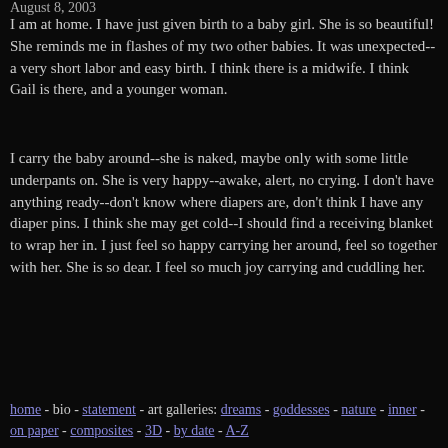August 8, 2003
I am at home. I have just given birth to a baby girl. She is so beautiful! She reminds me in flashes of my two other babies. It was unexpected--a very short labor and easy birth. I think there is a midwife. I think Gail is there, and a younger woman.
I carry the baby around--she is naked, maybe only with some little underpants on. She is very happy--awake, alert, no crying. I don't have anything ready--don't know where diapers are, don't think I have any diaper pins. I think she may get cold--I should find a receiving blanket to wrap her in. I just feel so happy carrying her around, feel so together with her. She is so dear. I feel so much joy carrying and cuddling her.
home - bio - statement - art galleries: dreams - goddesses - nature - inner - on paper - composites - 3D - by date - A-Z